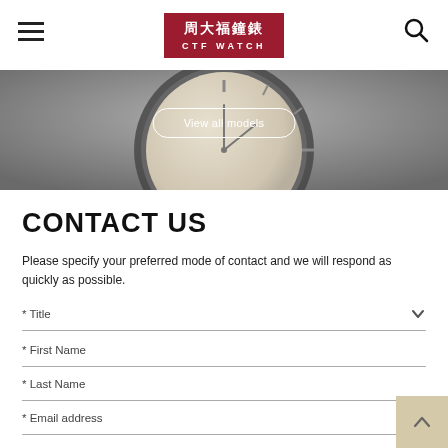CTF WATCH (周大福鐘錶)
[Figure (photo): Watch face close-up hero image with 'View all models' button overlay]
CONTACT US
Please specify your preferred mode of contact and we will respond as quickly as possible.
* Title
* First Name
* Last Name
* Email address